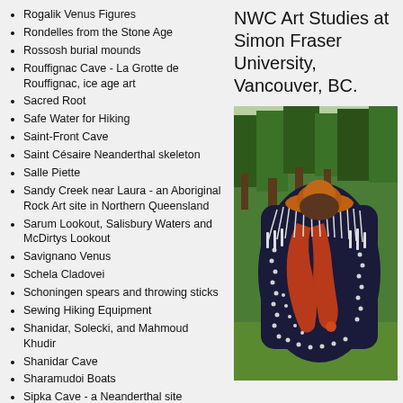Rogalik Venus Figures
Rondelles from the Stone Age
Rossosh burial mounds
Rouffignac Cave - La Grotte de Rouffignac, ice age art
Sacred Root
Safe Water for Hiking
Saint-Front Cave
Saint Césaire Neanderthal skeleton
Salle Piette
Sandy Creek near Laura - an Aboriginal Rock Art site in Northern Queensland
Sarum Lookout, Salisbury Waters and McDirtys Lookout
Savignano Venus
Schela Cladovei
Schoningen spears and throwing sticks
Sewing Hiking Equipment
Shanidar, Solecki, and Mahmoud Khudir
Shanidar Cave
Sharamudoi Boats
Sipka Cave - a Neanderthal site
Sitemap
Sites of Geissenklosterle, Hohle Fels, and Middle Paleolithic sites in the Swabian Alb near the city of Ulm
NWC Art Studies at Simon Fraser University, Vancouver, BC.
[Figure (photo): Person seen from behind wearing a dark navy ceremonial garment/cloak with red and white Indigenous art designs including dotted patterns and curved forms, with white fringe hanging from the shoulders and an orange/brown hat. Trees and green grass visible in background.]